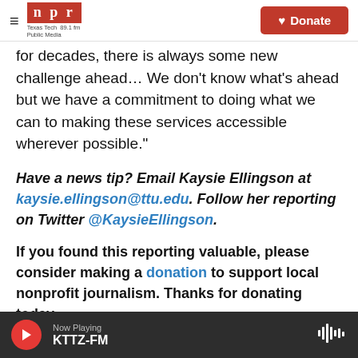NPR - Texas Tech Public Media 89.1 fm | Donate
for decades, there is always some new challenge ahead… We don't know what's ahead but we have a commitment to doing what we can to making these services accessible wherever possible."
Have a news tip? Email Kaysie Ellingson at kaysie.ellingson@ttu.edu. Follow her reporting on Twitter @KaysieEllingson.
If you found this reporting valuable, please consider making a donation to support local nonprofit journalism. Thanks for donating today.
Now Playing KTTZ-FM